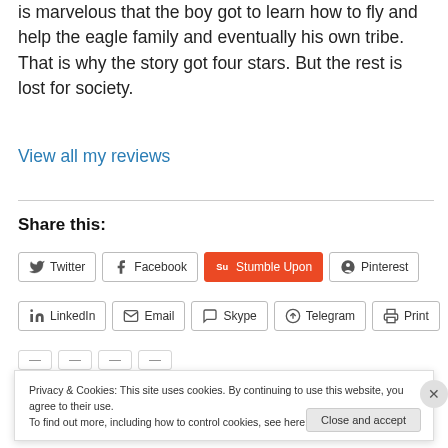is marvelous that the boy got to learn how to fly and help the eagle family and eventually his own tribe. That is why the story got four stars. But the rest is lost for society.
View all my reviews
Share this:
Twitter  Facebook  Stumble Upon  Pinterest  LinkedIn  Email  Skype  Telegram  Print
Privacy & Cookies: This site uses cookies. By continuing to use this website, you agree to their use.
To find out more, including how to control cookies, see here: Cookie Policy
Close and accept